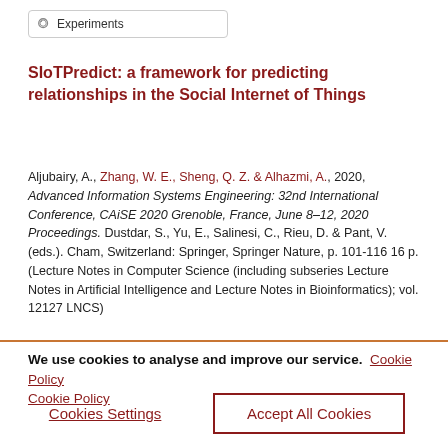[Figure (screenshot): Search bar with loading spinner icon and text 'Experiments']
SIoTPredict: a framework for predicting relationships in the Social Internet of Things
Aljubairy, A., Zhang, W. E., Sheng, Q. Z. & Alhazmi, A., 2020, Advanced Information Systems Engineering: 32nd International Conference, CAiSE 2020 Grenoble, France, June 8–12, 2020 Proceedings. Dustdar, S., Yu, E., Salinesi, C., Rieu, D. & Pant, V. (eds.). Cham, Switzerland: Springer, Springer Nature, p. 101-116 16 p. (Lecture Notes in Computer Science (including subseries Lecture Notes in Artificial Intelligence and Lecture Notes in Bioinformatics); vol. 12127 LNCS)
We use cookies to analyse and improve our service. Cookie Policy
Cookies Settings
Accept All Cookies